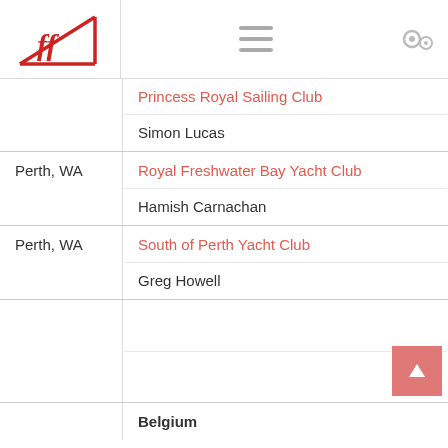[Figure (logo): Finn class sailing logo with stylized ff letters in red]
|  | Princess Royal Sailing Club | Simon Lucas |
| Perth, WA | Royal Freshwater Bay Yacht Club | Hamish Carnachan |
| Perth, WA | South of Perth Yacht Club | Greg Howell |
|  |  |  |
|  | Belgium |  |